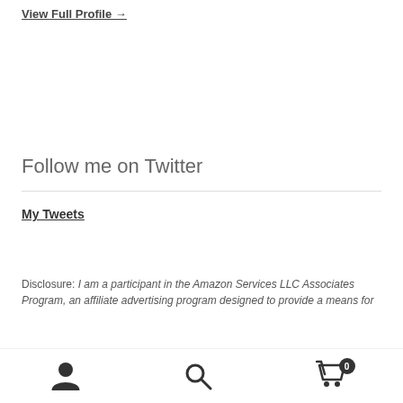View Full Profile →
Follow me on Twitter
My Tweets
Disclosure: I am a participant in the Amazon Services LLC Associates Program, an affiliate advertising program designed to provide a means for...affiliated
Person | Search | Cart (0)